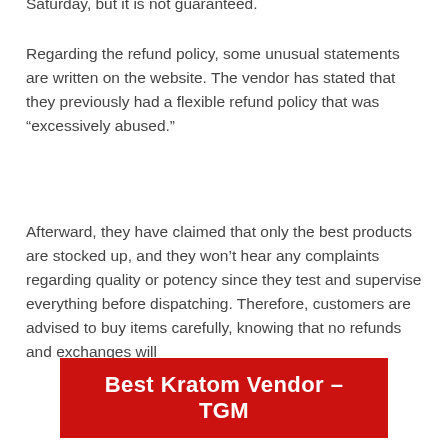Saturday, but it is not guaranteed.
Regarding the refund policy, some unusual statements are written on the website. The vendor has stated that they previously had a flexible refund policy that was “excessively abused.”
Afterward, they have claimed that only the best products are stocked up, and they won’t hear any complaints regarding quality or potency since they test and supervise everything before dispatching. Therefore, customers are advised to buy items carefully, knowing that no refunds and exchanges will
[Figure (other): Red banner button with white text reading 'Best Kratom Vendor – TGM']